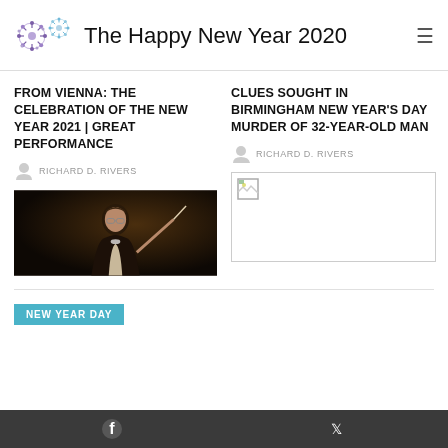The Happy New Year 2020
FROM VIENNA: THE CELEBRATION OF THE NEW YEAR 2021 | GREAT PERFORMANCE
RICHARD D. RIVERS
[Figure (photo): Man in suit conducting, dark background]
CLUES SOUGHT IN BIRMINGHAM NEW YEAR'S DAY MURDER OF 32-YEAR-OLD MAN
RICHARD D. RIVERS
[Figure (photo): Broken image placeholder]
NEW YEAR DAY
Facebook  Twitter